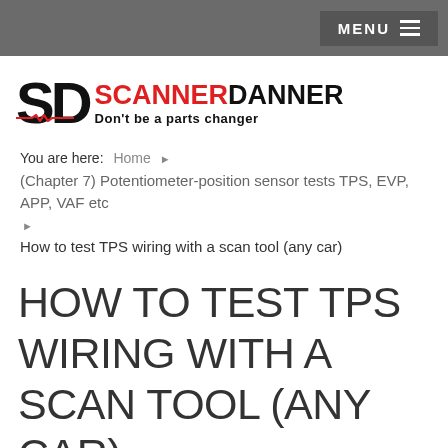MENU
[Figure (logo): ScannerDanner logo with 'SD' letters and tagline 'Don't be a parts changer']
You are here: Home ▶ (Chapter 7) Potentiometer-position sensor tests TPS, EVP, APP, VAF etc ▶ How to test TPS wiring with a scan tool (any car)
HOW TO TEST TPS WIRING WITH A SCAN TOOL (ANY CAR)